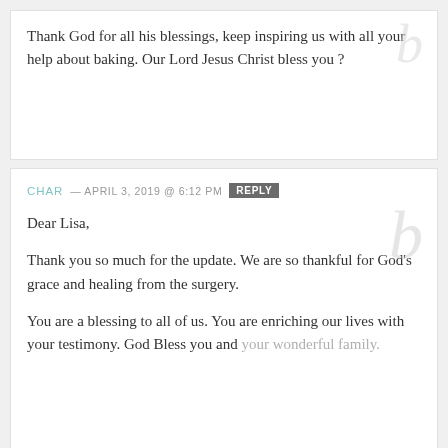Thank God for all his blessings, keep inspiring us with all your help about baking. Our Lord Jesus Christ bless you ?
CHAR — APRIL 3, 2019 @ 6:12 PM  REPLY
Dear Lisa,

Thank you so much for the update.  We are so thankful for God's grace and healing from the surgery.

You are a blessing to all of us.  You are enriching our lives with your testimony.  God Bless you and your wonderful family.